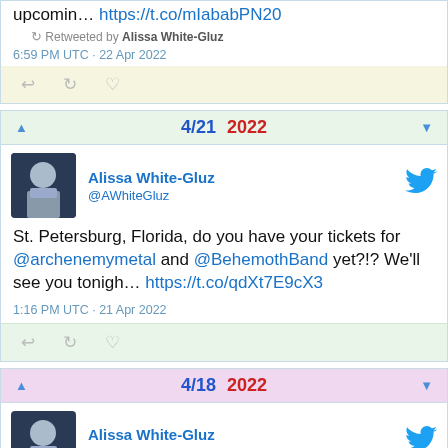upcomin… https://t.co/mIababPN20
Retweeted by Alissa White-Gluz
6:59 PM UTC · 22 Apr 2022
4/21 2022
Alissa White-Gluz @AWhiteGluz
St. Petersburg, Florida, do you have your tickets for @archenemymetal and @BehemothBand yet?!? We'll see you tonigh… https://t.co/qdXt7E9cX3
1:16 PM UTC · 21 Apr 2022
4/18 2022
Alissa White-Gluz @AWhiteGluz
See you tonight San Antonio Texas! https://...